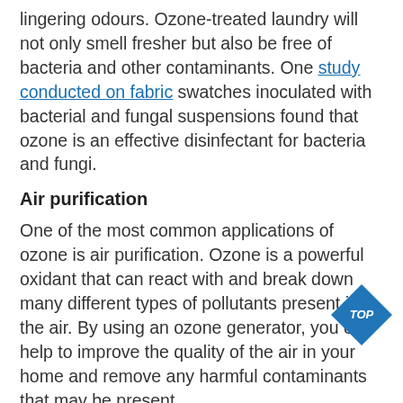lingering odours. Ozone-treated laundry will not only smell fresher but also be free of bacteria and other contaminants. One study conducted on fabric swatches inoculated with bacterial and fungal suspensions found that ozone is an effective disinfectant for bacteria and fungi.
Air purification
One of the most common applications of ozone is air purification. Ozone is a powerful oxidant that can react with and break down many different types of pollutants present in the air. By using an ozone generator, you can help to improve the quality of the air in your home and remove any harmful contaminants that may be present.
If you are looking for a natural and